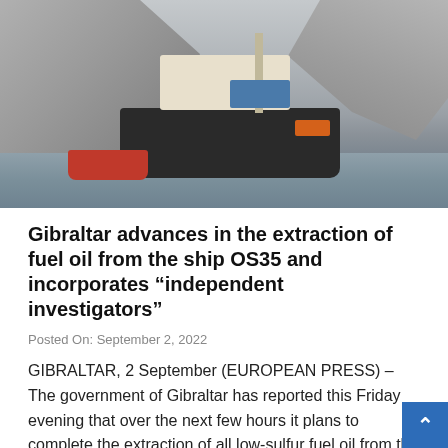[Figure (photo): A large cargo ship (OS35) near a rocky cliff/coastline with tugboats alongside it in the water. The scene is hazy with grey tones.]
Gibraltar advances in the extraction of fuel oil from the ship OS35 and incorporates "independent investigators"
Posted On: September 2, 2022
GIBRALTAR, 2 September (EUROPEAN PRESS) – The government of Gibraltar has reported this Friday evening that over the next few hours it plans to complete the extraction of all low-sulfur fuel oil from the tanks of the two carriers O